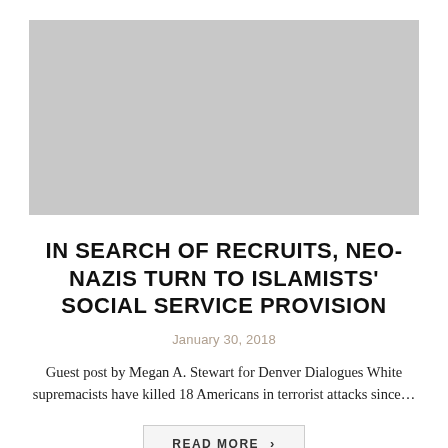[Figure (photo): Gray placeholder image at top of article card]
IN SEARCH OF RECRUITS, NEO-NAZIS TURN TO ISLAMISTS' SOCIAL SERVICE PROVISION
January 30, 2018
Guest post by Megan A. Stewart for Denver Dialogues White supremacists have killed 18 Americans in terrorist attacks since...
READ MORE >